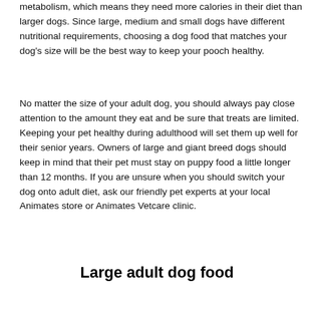metabolism, which means they need more calories in their diet than larger dogs. Since large, medium and small dogs have different nutritional requirements, choosing a dog food that matches your dog's size will be the best way to keep your pooch healthy.
No matter the size of your adult dog, you should always pay close attention to the amount they eat and be sure that treats are limited. Keeping your pet healthy during adulthood will set them up well for their senior years. Owners of large and giant breed dogs should keep in mind that their pet must stay on puppy food a little longer than 12 months. If you are unsure when you should switch your dog onto adult diet, ask our friendly pet experts at your local Animates store or Animates Vetcare clinic.
Large adult dog food